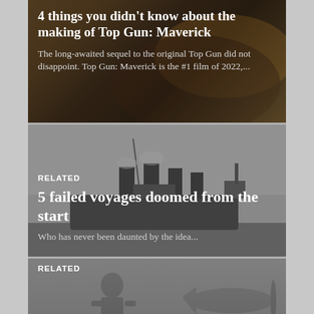[Figure (photo): Background photo of Top Gun Maverick - pilot/aircraft scene with warm orange-brown tones]
4 things you didn't know about the making of Top Gun: Maverick
The long-awaited sequel to the original Top Gun did not disappoint. Top Gun: Maverick is the #1 film of 2022,...
[Figure (photo): Black and white historical photo of a large ship (ocean liner) with multiple funnels, foggy/misty atmosphere]
RELATED
5 failed voyages doomed from the start
Who has never been daunted by the idea...
[Figure (photo): Black and white photo of a WWII era pilot or soldier with aircraft in background]
RELATED
This American WWII fighter plane was deadliest in the hands of the